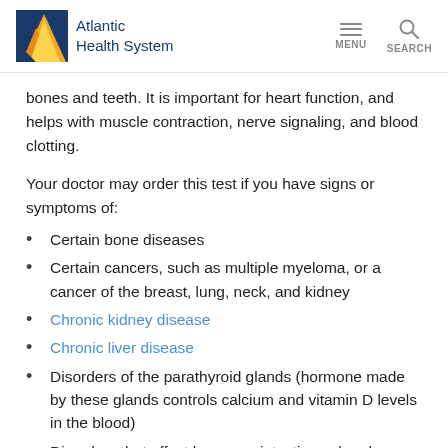Atlantic Health System | MENU SEARCH
bones and teeth. It is important for heart function, and helps with muscle contraction, nerve signaling, and blood clotting.
Your doctor may order this test if you have signs or symptoms of:
Certain bone diseases
Certain cancers, such as multiple myeloma, or a cancer of the breast, lung, neck, and kidney
Chronic kidney disease
Chronic liver disease
Disorders of the parathyroid glands (hormone made by these glands controls calcium and vitamin D levels in the blood)
Disorders that affect how your intestines absorb nutrients (intestinal malabsorption)
High vitamin D blood level